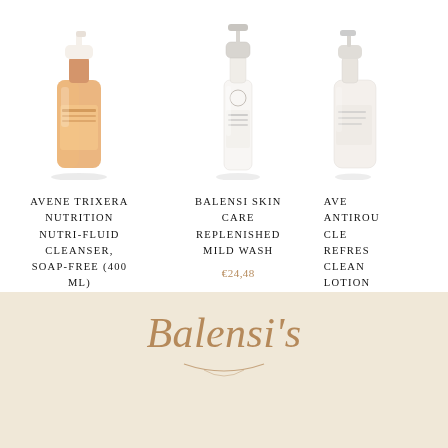[Figure (photo): Avene Trixera Nutrition Nutri-Fluid Cleanser amber/orange pump bottle]
AVENE TRIXERA NUTRITION NUTRI-FLUID CLEANSER, SOAP-FREE (400 ML)
€29,58
[Figure (photo): Balensi Skin Care Replenished Mild Wash white pump bottle]
BALENSI SKIN CARE REPLENISHED MILD WASH
€24,48
[Figure (photo): Avene Antirou Cleansing Refreshing Cleansing Lotion (partial, cut off)]
AVE ANTIROU CLE REFRES CLEAN LOTION
€24
[Figure (logo): Balensi's brand logo in gold italic script on cream background]